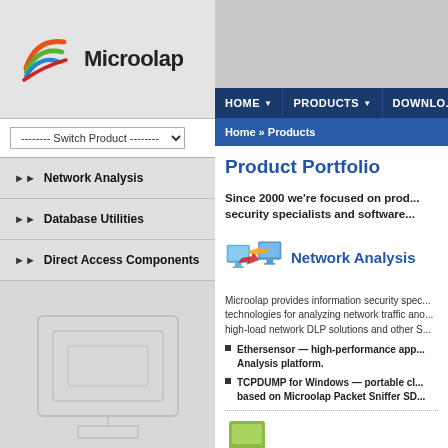[Figure (logo): Microolap logo with colorful swoosh arcs (orange, green, blue, red) and company name 'Microolap']
-------- Switch Product --------
Network Analysis
Database Utilities
Direct Access Components
HOME   PRODUCTS   DOWNLO...
Home » Products
Product Portfolio
Since 2000 we're focused on prod... security specialists and software...
[Figure (illustration): Network analysis icon: two monitors with colorful arrows between them]
Network Analysis
Microolap provides information security spec... technologies for analyzing network traffic ano... high-load network DLP solutions and other S...
Ethersensor — high-performance app... Analysis platform.
TCPDUMP for Windows — portable cl... based on Microolap Packet Sniffer SD...
[Figure (illustration): Small icon at the bottom of the page, partially visible]